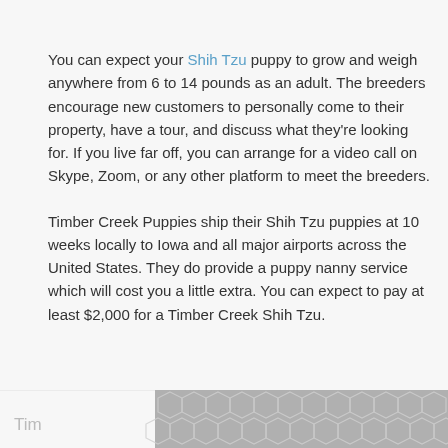You can expect your Shih Tzu puppy to grow and weigh anywhere from 6 to 14 pounds as an adult. The breeders encourage new customers to personally come to their property, have a tour, and discuss what they're looking for. If you live far off, you can arrange for a video call on Skype, Zoom, or any other platform to meet the breeders.
Timber Creek Puppies ship their Shih Tzu puppies at 10 weeks locally to Iowa and all major airports across the United States. They do provide a puppy nanny service which will cost you a little extra. You can expect to pay at least $2,000 for a Timber Creek Shih Tzu.
[Figure (other): Partially visible advertisement banner with a hexagonal geometric pattern in grey and white, with truncated text 'Tim' visible on the left side.]